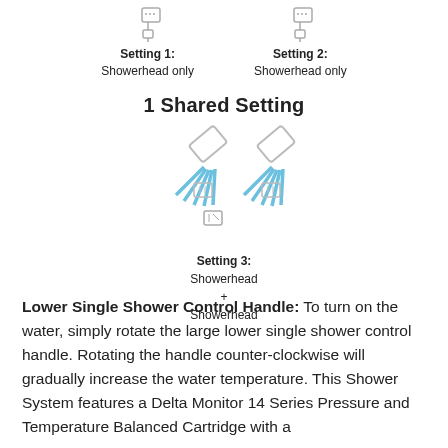[Figure (illustration): Setting 1 showerhead-only icon (outline showerhead head icon)]
Setting 1:
Showerhead only
[Figure (illustration): Setting 2 showerhead-only icon (outline showerhead head icon)]
Setting 2:
Showerhead only
1 Shared Setting
[Figure (illustration): Setting 3 diagram showing two showerhead icons (blue spray lines) with two outlet icons below]
Setting 3:
Showerhead
+
Showerhead
Lower Single Shower Control Handle: To turn on the water, simply rotate the large lower single shower control handle. Rotating the handle counter-clockwise will gradually increase the water temperature. This Shower System features a Delta Monitor 14 Series Pressure and Temperature Balanced Cartridge with a